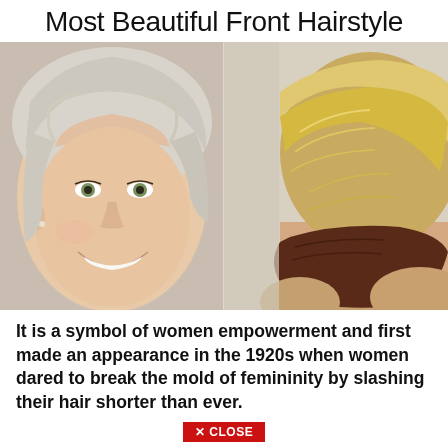Most Beautiful Front Hairstyle
[Figure (photo): Split image showing two women with short pixie cut hairstyles. Left side shows a woman's face with silver-blonde pixie cut, smiling. Right side shows the back of a woman's head with a blonde-to-dark undercut pixie hairstyle.]
It is a symbol of women empowerment and first made an appearance in the 1920s when women dared to break the mold of femininity by slashing their hair shorter than ever.
Pixie cut hair styles ... cut is a hot and popular